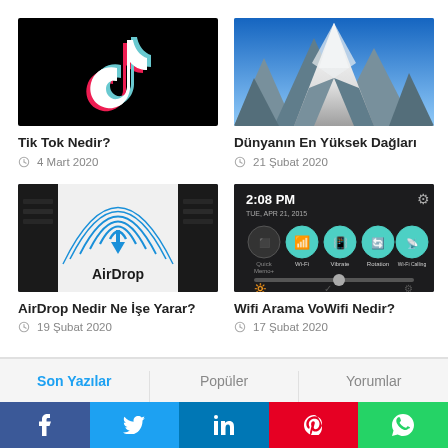[Figure (photo): TikTok logo on black background]
Tik Tok Nedir?
4 Mart 2020
[Figure (photo): Snowy mountain peaks (world's highest mountains) against blue sky]
Dünyanın En Yüksek Dağları
21 Şubat 2020
[Figure (photo): AirDrop logo with concentric circles and arrow on dark background with phones]
AirDrop Nedir Ne İşe Yarar?
19 Şubat 2020
[Figure (screenshot): Android phone quick settings panel showing WiFi, Vibrate, Rotation, Wi-Fi Calling buttons at 2:08 PM]
Wifi Arama VoWifi Nedir?
17 Şubat 2020
Son Yazılar
Popüler
Yorumlar